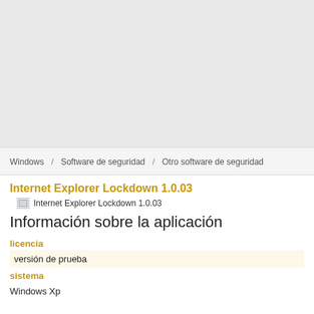[Figure (other): Gray placeholder/banner area at top of page]
Windows / Software de seguridad / Otro software de seguridad
Internet Explorer Lockdown 1.0.03
[Figure (other): Broken image icon for Internet Explorer Lockdown 1.0.03]
Información sobre la aplicación
licencia
versión de prueba
sistema
Windows Xp